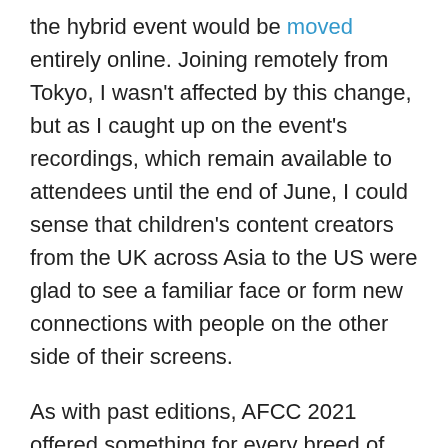the hybrid event would be moved entirely online. Joining remotely from Tokyo, I wasn't affected by this change, but as I caught up on the event's recordings, which remain available to attendees until the end of June, I could sense that children's content creators from the UK across Asia to the US were glad to see a familiar face or form new connections with people on the other side of their screens.
As with past editions, AFCC 2021 offered something for every breed of children's content creator. Sessions on diversity, mental well-being, and accessibility in children's books mixed with those on digital content, market entry, and distribution that were presided over by writers, illustrators, publishers, book sellers, and digital creators, and a handful of translators too.
From Japan, Mariko Nagai helped to envision poetry not